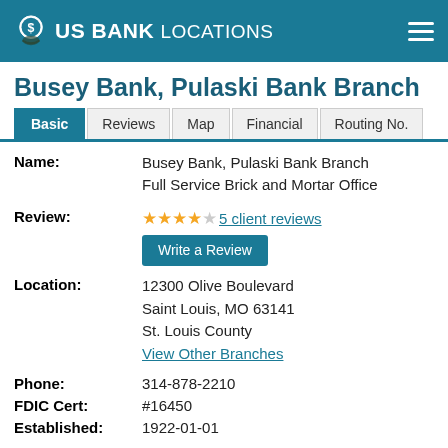US BANK LOCATIONS
Busey Bank, Pulaski Bank Branch
| Basic | Reviews | Map | Financial | Routing No. |
| --- | --- | --- | --- | --- |
Name: Busey Bank, Pulaski Bank Branch Full Service Brick and Mortar Office
Review: ★★★★☆ 5 client reviews — Write a Review
Location: 12300 Olive Boulevard Saint Louis, MO 63141 St. Louis County View Other Branches
Phone: 314-878-2210
FDIC Cert: #16450
Established: 1922-01-01